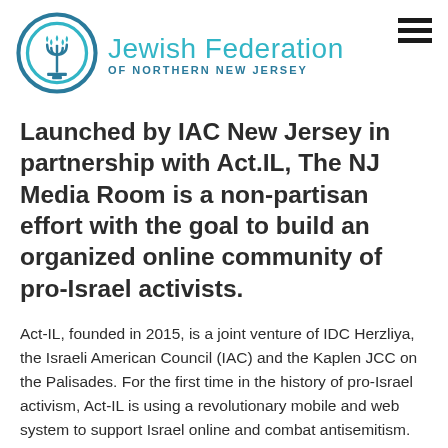[Figure (logo): Jewish Federation of Northern New Jersey logo — menorah inside a circular design in teal/dark blue, with the text 'Jewish Federation' in teal and 'OF NORTHERN NEW JERSEY' in dark teal below]
Launched by IAC New Jersey in partnership with Act.IL, The NJ Media Room is a non-partisan effort with the goal to build an organized online community of pro-Israel activists.
Act-IL, founded in 2015, is a joint venture of IDC Herzliya, the Israeli American Council (IAC) and the Kaplen JCC on the Palisades. For the first time in the history of pro-Israel activism, Act-IL is using a revolutionary mobile and web system to support Israel online and combat antisemitism. By crowd-